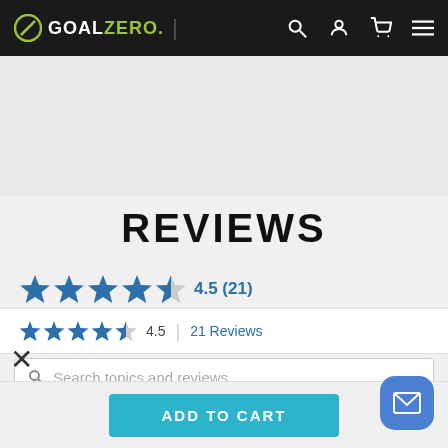GOALZERO. navigation bar with search, account, cart, and menu icons
REVIEWS
4.5 (21)
4.5 | 21 Reviews
Search topics and reviews
ADD TO CART